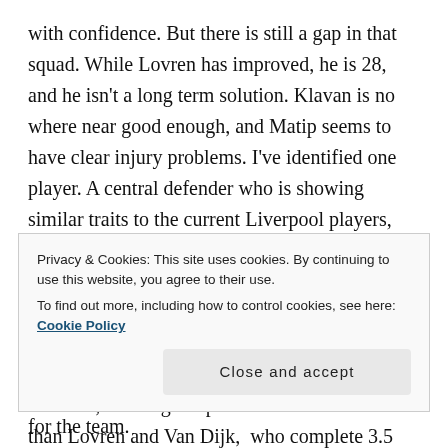with confidence. But there is still a gap in that squad. While Lovren has improved, he is 28, and he isn't a long term solution. Klavan is no where near good enough, and Matip seems to have clear injury problems. I've identified one player. A central defender who is showing similar traits to the current Liverpool players, being aerial duels, and that is Dayot Upamecano. The young Frenchman has really had his breakout season,starting 25 games for Leipzig this season. What makes him perfect for Liverpool is his aerial duels. He specialises in this area, winning 3.3 per 90. While it is lower than Lovren and Van Dijk, who complete 3.5 and
Privacy & Cookies: This site uses cookies. By continuing to use this website, you agree to their use. To find out more, including how to control cookies, see here: Cookie Policy
for the team.